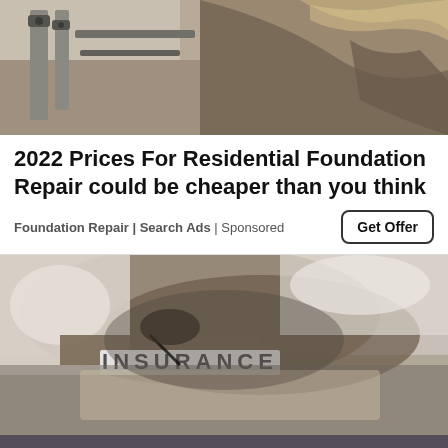[Figure (photo): Top portion of a photo showing foundation repair work with metal bolts/anchors against a concrete wall and soil/roots visible]
2022 Prices For Residential Foundation Repair could be cheaper than you think
Foundation Repair | Search Ads | Sponsored
Get Offer
[Figure (photo): Photo of hands holding a pen over an insurance document on a clipboard, with INSURANCE text visible at the bottom]
We and our partners use cookies on this site to improve our service, perform analytics, personalize advertising, measure advertising performance, and remember website preferences.
Ok